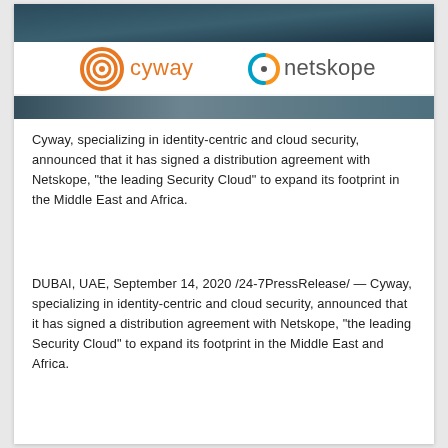[Figure (illustration): Header banner with a handshake photo and overlay logos for Cyway and Netskope on a white bar. Cyway logo is an orange concentric circle icon with orange text 'cyway'. Netskope logo is an orange-blue figure-8 knot icon with grey text 'netskope'.]
Cyway, specializing in identity-centric and cloud security, announced that it has signed a distribution agreement with Netskope, “the leading Security Cloud” to expand its footprint in the Middle East and Africa.
DUBAI, UAE, September 14, 2020 /24-7PressRelease/ — Cyway, specializing in identity-centric and cloud security, announced that it has signed a distribution agreement with Netskope, “the leading Security Cloud” to expand its footprint in the Middle East and Africa.